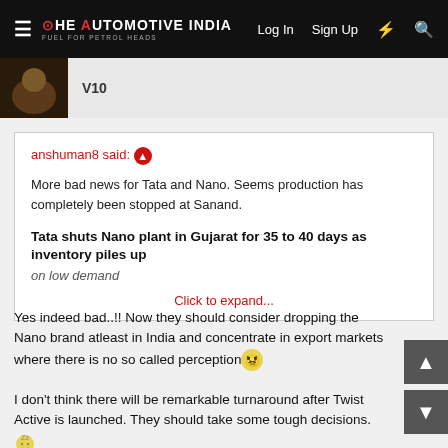THE AUTOMOTIVE INDIA — Log In  Sign Up
V10
anshuman8 said: ↑

More bad news for Tata and Nano. Seems production has completely been stopped at Sanand.

Tata shuts Nano plant in Gujarat for 35 to 40 days as inventory piles up on low demand

Click to expand...
Yes indeed bad..!! Now they should consider dropping the Nano brand atleast in India and concentrate in export markets where there is no so called perception 😠
I don't think there will be remarkable turnaround after Twist Active is launched. They should take some tough decisions. 😴